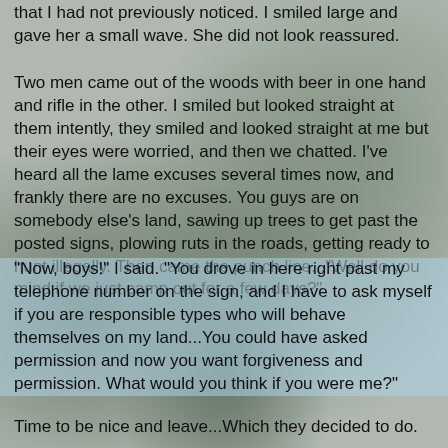that I had not previously noticed. I smiled large and gave her a small wave. She did not look reassured.
Two men came out of the woods with beer in one hand and rifle in the other. I smiled but looked straight at them intently, they smiled and looked straight at me but their eyes were worried, and then we chatted. I've heard all the lame excuses several times now, and frankly there are no excuses. You guys are on somebody else's land, sawing up trees to get past the posted signs, plowing ruts in the roads, getting ready to hunt illegally. Then came the punch line..."Well do you mind if we just camp out for a few days?"
"Now, boys!" I said. "You drove in here right past my telephone number on the sign, and I have to ask myself if you are responsible types who will behave themselves on my land...You could have asked permission and now you want forgiveness and permission. What would you think if you were me?"
Time to be nice and leave...Which they decided to do.